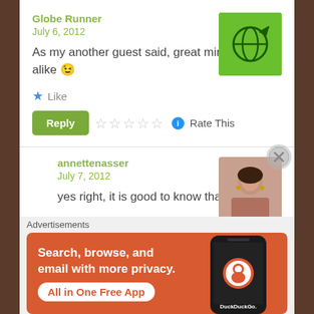Globe Runner
July 6, 2012
[Figure (illustration): Green square avatar with globe and arrow logo for Globe Runner]
As my another guest said, great minds think alike 😉
★ Like
Reply ☆☆☆☆☆ ℹ Rate This
annettenasser
July 7, 2012
[Figure (photo): Profile photo of a woman with dark hair]
yes right, it is good to know that a
Advertisements
[Figure (infographic): DuckDuckGo ad banner: Search, browse, and email with more privacy. All in One Free App. Shows phone with DuckDuckGo logo.]